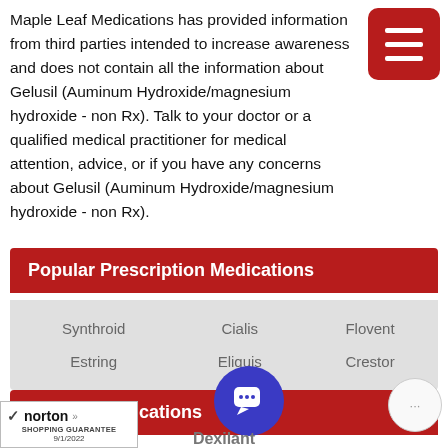Maple Leaf Medications has provided information from third parties intended to increase awareness and does not contain all the information about Gelusil (Auminum Hydroxide/magnesium hydroxide - non Rx). Talk to your doctor or a qualified medical practitioner for medical attention, advice, or if you have any concerns about Gelusil (Auminum Hydroxide/magnesium hydroxide - non Rx).
Popular Prescription Medications
| Synthroid | Cialis | Flovent |
| Estring | Eliquis | Crestor |
Related Medications
Dexilant